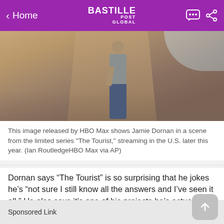< Home | BASTILLE POST GLOBAL
[Figure (photo): A person (Jamie Dornan) standing on a dirt road in an arid landscape, wearing a grey t-shirt and jeans, photographed for HBO Max series 'The Tourist'.]
This image released by HBO Max shows Jamie Dornan in a scene from the limited series "The Tourist," streaming in the U.S. later this year. (Ian RoutledgeHBO Max via AP)
Dornan says “The Tourist” is so surprising that he jokes he’s “not sure I still know all the answers and I’ve seen it all.” He also says it’s one of his projects he’s actually made a point to watch because so many people were talking about it.
Sponsored Link